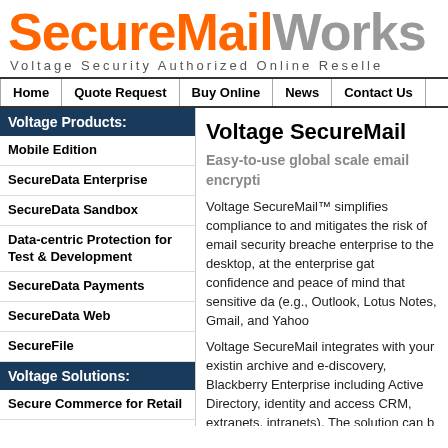SecureMailWorks
Voltage Security Authorized Online Reseller
Home | Quote Request | Buy Online | News | Contact Us
Voltage Products:
Mobile Edition
SecureData Enterprise
SecureData Sandbox
Data-centric Protection for Test & Development
SecureData Payments
SecureData Web
SecureFile
Voltage Solutions:
Secure Commerce for Retail
Enterprise Mobile Data Security
Enterprise Cloud Security
Enterprise Security for Big Data
Voltage SecureMail
Easy-to-use global scale email encrypti…
Voltage SecureMail™ simplifies compliance to and mitigates the risk of email security breache enterprise to the desktop, at the enterprise gat confidence and peace of mind that sensitive da (e.g., Outlook, Lotus Notes, Gmail, and Yahoo
Voltage SecureMail integrates with your existin archive and e-discovery, Blackberry Enterprise including Active Directory, identity and access CRM, extranets, intranets). The solution can b organizations.
Voltage SecureMail employs proven Identity-B to manage and administer. The stateless archi traditional PKI or symmetric key approaches. S as easy and familiar as standard email commu
Voltage SecureMail can be deployed on-premi